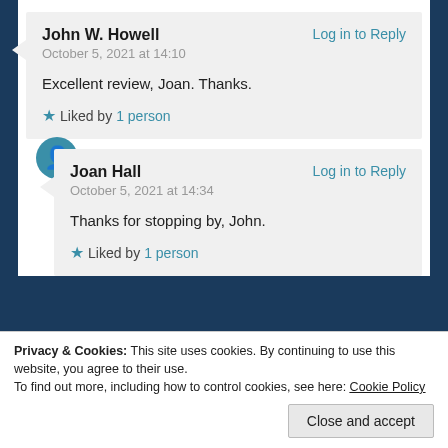John W. Howell — Log in to Reply — October 5, 2021 at 14:10 — Excellent review, Joan. Thanks. — Liked by 1 person
Joan Hall — Log in to Reply — October 5, 2021 at 14:34 — Thanks for stopping by, John. — Liked by 1 person
Privacy & Cookies: This site uses cookies. By continuing to use this website, you agree to their use. To find out more, including how to control cookies, see here: Cookie Policy — Close and accept